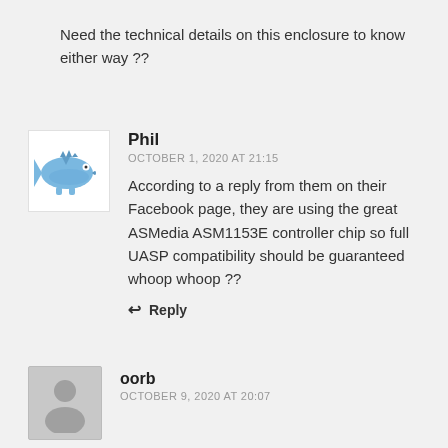Need the technical details on this enclosure to know either way ??
Phil
OCTOBER 1, 2020 AT 21:15
According to a reply from them on their Facebook page, they are using the great ASMedia ASM1153E controller chip so full UASP compatibility should be guaranteed whoop whoop ??
Reply
oorb
OCTOBER 9, 2020 AT 20:07